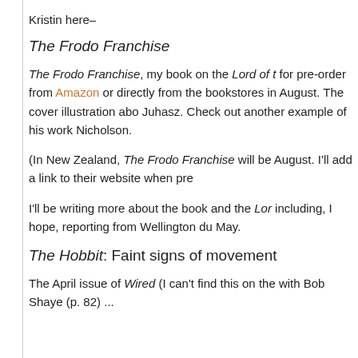Kristin here–
The Frodo Franchise
The Frodo Franchise, my book on the Lord of t... for pre-order from Amazon or directly from the... bookstores in August. The cover illustration abo... Juhasz. Check out another example of his work... Nicholson.
(In New Zealand, The Frodo Franchise will be... August. I'll add a link to their website when pre...
I'll be writing more about the book and the Lor... including, I hope, reporting from Wellington du... May.
The Hobbit: Faint signs of movement
The April issue of Wired (I can't find this on the... with Bob Shaye (p. 82)...